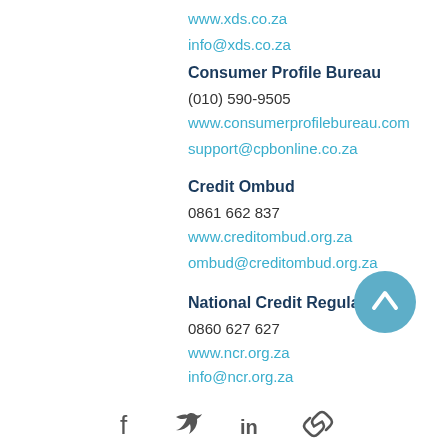www.xds.co.za
info@xds.co.za
Consumer Profile Bureau
(010) 590-9505
www.consumerprofilebureau.com
support@cpbonline.co.za
Credit Ombud
0861 662 837
www.creditombud.org.za
ombud@creditombud.org.za
National Credit Regulator
0860 627 627
www.ncr.org.za
info@ncr.org.za
[Figure (illustration): Scroll-to-top button: circular teal button with white upward chevron arrow]
[Figure (illustration): Social media icons row: Facebook, Twitter, LinkedIn, and a link/chain icon]